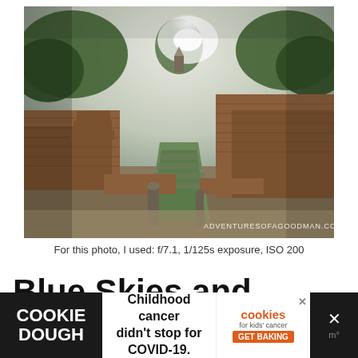[Figure (photo): Ancient brick ruins with stone staircases and moss-covered structures, trees and bright sky in background. Watermark: ADVENTURESOFAGOODMAN.COM]
For this photo, I used: f/7.1, 1/125s exposure, ISO 200
Blue Skies and Underexposed
[Figure (infographic): Advertisement banner: Cookie Dough | Childhood cancer didn't stop for COVID-19. | cookies for kids' cancer GET BAKING | X close button]